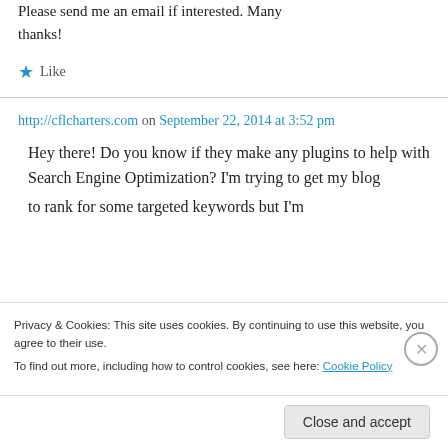Please send me an email if interested. Many thanks!
★ Like
http://cflcharters.com on September 22, 2014 at 3:52 pm
Hey there! Do you know if they make any plugins to help with Search Engine Optimization? I'm trying to get my blog to rank for some targeted keywords but I'm
Privacy & Cookies: This site uses cookies. By continuing to use this website, you agree to their use.
To find out more, including how to control cookies, see here: Cookie Policy
Close and accept